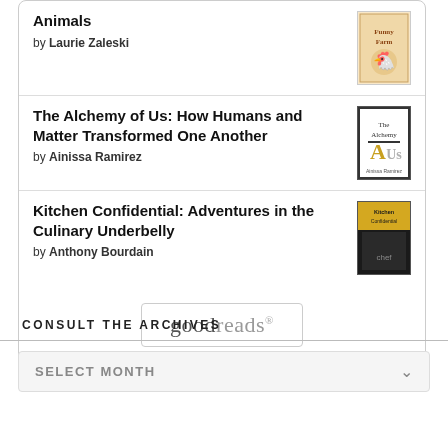Animals by Laurie Zaleski
The Alchemy of Us: How Humans and Matter Transformed One Another by Ainissa Ramirez
Kitchen Confidential: Adventures in the Culinary Underbelly by Anthony Bourdain
[Figure (logo): Goodreads logo in a rounded rectangle box]
CONSULT THE ARCHIVES
SELECT MONTH